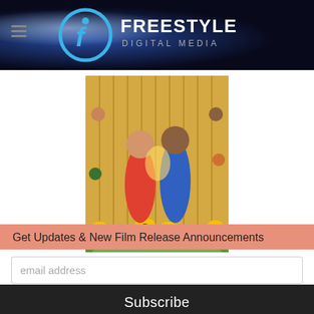Freestyle Digital Media
[Figure (photo): Movie poster for 'Best Summer Ever' — colorful poster with sunflowers, multiple characters, and two main characters facing each other in center.]
19 MAR THE
Get Updates & New Film Release Announcements
email address
Subscribe